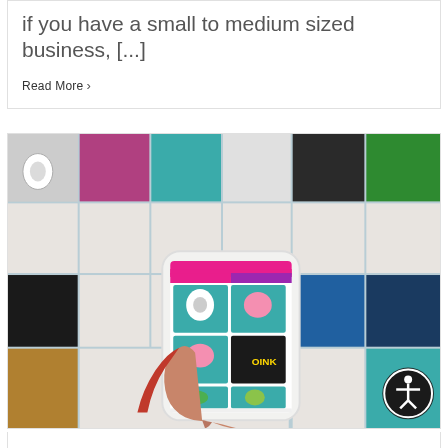if you have a small to medium sized business, [...]
Read More >
[Figure (photo): A hand holding a smartphone displaying a sticker/NFT marketplace app, with a colorful grid of cartoon animal sticker artworks in the background. An accessibility icon button is visible in the bottom right corner.]